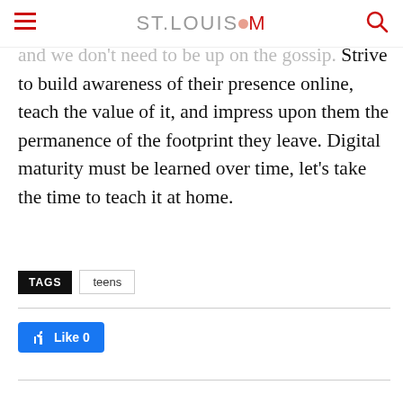ST.LOUISMOM
and we don't need to be up on the gossip. Strive to build awareness of their presence online, teach the value of it, and impress upon them the permanence of the footprint they leave. Digital maturity must be learned over time, let's take the time to teach it at home.
TAGS  teens
[Figure (other): Facebook Like button showing thumbs up icon and Like 0 count]